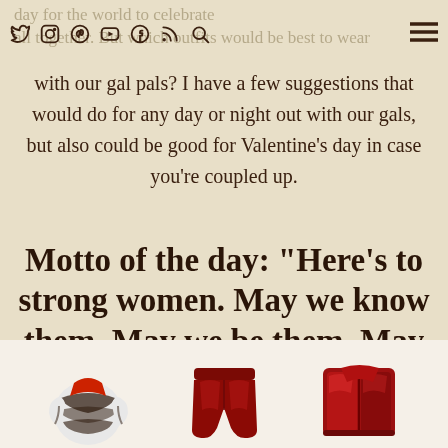Social nav icons: Twitter, Instagram, Pinterest, YouTube, Facebook, RSS, Search, Menu
day for the world to celebrate all together. But which outfits would be best to wear with our gal pals? I have a few suggestions that would do for any day or night out with our gals, but also could be good for Valentine's day in case you're coupled up.
Motto of the day: “Here’s to strong women. May we know them. May we be them. May we raise them.”
[Figure (photo): Three clothing items on white background: a zebra-print jacket, red leather shorts, and a red shiny bag/jacket]